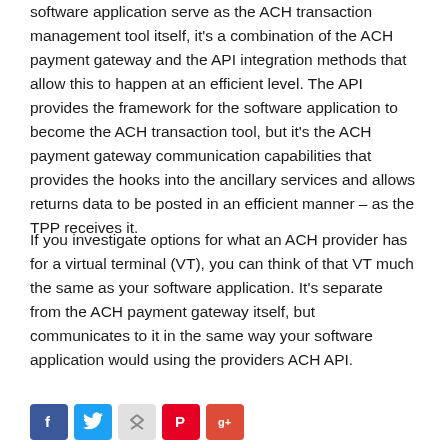software application serve as the ACH transaction management tool itself, it's a combination of the ACH payment gateway and the API integration methods that allow this to happen at an efficient level. The API provides the framework for the software application to become the ACH transaction tool, but it's the ACH payment gateway communication capabilities that provides the hooks into the ancillary services and allows returns data to be posted in an efficient manner – as the TPP receives it.
If you investigate options for what an ACH provider has for a virtual terminal (VT), you can think of that VT much the same as your software application. It's separate from the ACH payment gateway itself, but communicates to it in the same way your software application would using the providers ACH API.
[Figure (other): Social media sharing icons: Facebook, Twitter, LinkedIn, Pinterest, Google+]